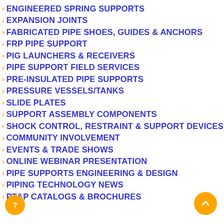ENGINEERED SPRING SUPPORTS
EXPANSION JOINTS
FABRICATED PIPE SHOES, GUIDES & ANCHORS
FRP PIPE SUPPORT
PIG LAUNCHERS & RECEIVERS
PIPE SUPPORT FIELD SERVICES
PRE-INSULATED PIPE SUPPORTS
PRESSURE VESSELS/TANKS
SLIDE PLATES
SUPPORT ASSEMBLY COMPONENTS
SHOCK CONTROL, RESTRAINT & SUPPORT DEVICES
COMMUNITY INVOLVEMENT
EVENTS & TRADE SHOWS
ONLINE WEBINAR PRESENTATION
PIPE SUPPORTS ENGINEERING & DESIGN
PIPING TECHNOLOGY NEWS
PT&P CATALOGS & BROCHURES